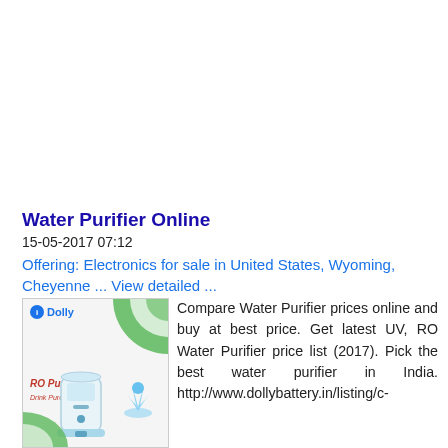Water Purifier Online
15-05-2017 07:12
Offering: Electronics for sale in United States, Wyoming, Cheyenne ... View detailed ...
[Figure (photo): Product image of a Dolly brand RO water purifier with green swirl background, RO Purifier label in red italic text, water splash graphic, and purifier machine illustration]
Compare Water Purifier prices online and buy at best price. Get latest UV, RO Water Purifier price list (2017). Pick the best water purifier in India. http://www.dollybattery.in/listing/c-